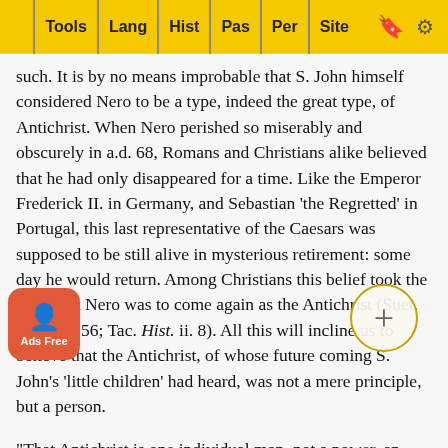Tools | Lang | Hist | Pas | Per | Site
such. It is by no means improbable that S. John himself considered Nero to be a type, indeed the great type, of Antichrist. When Nero perished so miserably and obscurely in a.d. 68, Romans and Christians alike believed that he had only disappeared for a time. Like the Emperor Frederick II. in Germany, and Sebastian 'the Regretted' in Portugal, this last representative of the Caesars was supposed to be still alive in mysterious retirement: some day he would return. Among Christians this belief took the form that Nero was to come again as the Antichrist (Suet. Nero 40, 56; Tac. Hist. ii. 8). All this will incline us to believe that the Antichrist, of whose future coming S. John's 'little children' had heard, was not a mere principle, but a person.
"That Antichrist is one individual man, not a power, an ethical spirit, or a political system, not a dynasty, or a succession of rulers. was the universal tradition of the early Church... amou... ond of